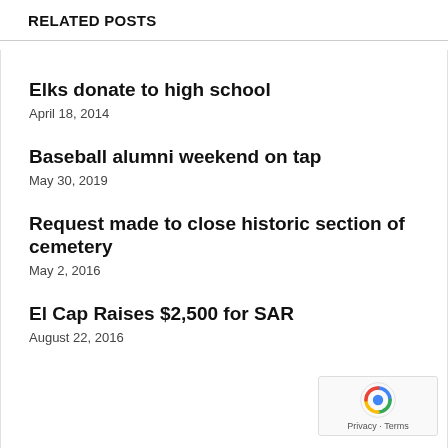RELATED POSTS
Elks donate to high school
April 18, 2014
Baseball alumni weekend on tap
May 30, 2019
Request made to close historic section of cemetery
May 2, 2016
El Cap Raises $2,500 for SAR
August 22, 2016